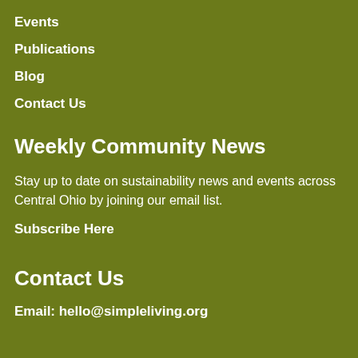Events
Publications
Blog
Contact Us
Weekly Community News
Stay up to date on sustainability news and events across Central Ohio by joining our email list.
Subscribe Here
Contact Us
Email: hello@simpleliving.org